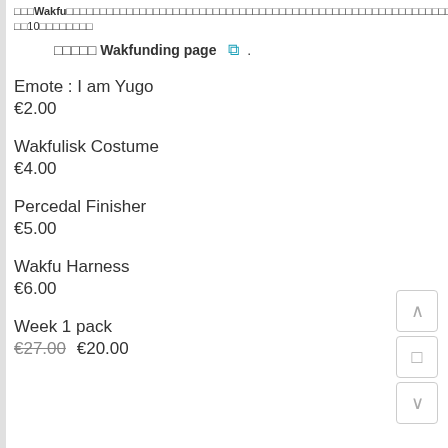□□□Wakfu□□□□□□□□□□□□□□□□□□□□□□□□□□□□□□□□□□□□□□□□□□□□□□□□□□□□□□□□□□10□□□□□□□□
□□□□□Wakfunding page □.
Emote : I am Yugo
€2.00
Wakfulisk Costume
€4.00
Percedal Finisher
€5.00
Wakfu Harness
€6.00
Week 1 pack
€27.00 €20.00